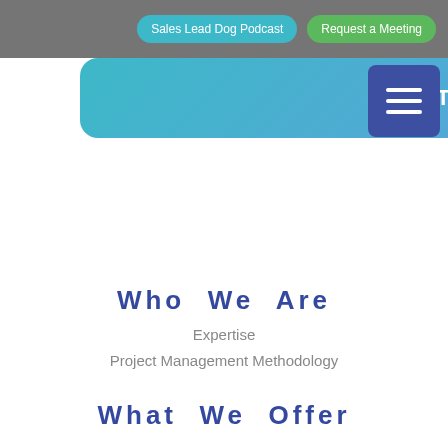Sales Lead Dog Podcast | Request a Meeting
STRATEGY
[Figure (other): Dark blue square hamburger/menu icon with three white horizontal lines]
Who We Are
Expertise
Project Management Methodology
What We Offer